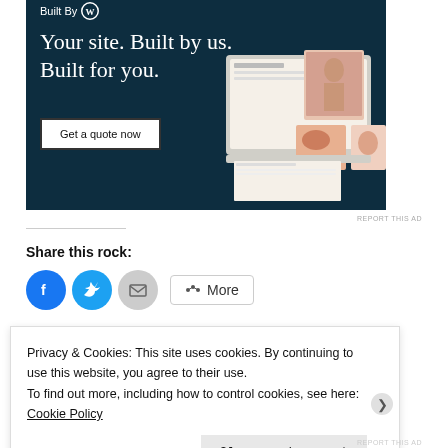[Figure (screenshot): WordPress.com advertisement banner: dark navy background with headline 'Your site. Built by us. Built for you.' and a 'Get a quote now' button, with mockup screenshots of a website on the right side.]
REPORT THIS AD
Share this rock:
[Figure (infographic): Three social share buttons: Facebook (blue circle with f icon), Twitter (blue circle with bird icon), Email (grey circle with envelope icon), and a 'More' button with share icon.]
Privacy & Cookies: This site uses cookies. By continuing to use this website, you agree to their use.
To find out more, including how to control cookies, see here: Cookie Policy
Close and accept